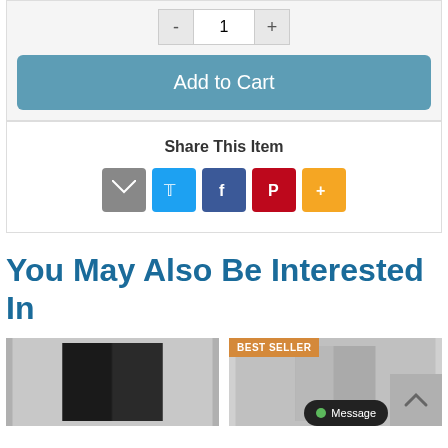[Figure (screenshot): Quantity selector with minus button, quantity 1, and plus button]
[Figure (screenshot): Add to Cart button in teal/blue color]
Share This Item
[Figure (infographic): Social share icons: email (grey), Twitter (blue), Facebook (blue), Pinterest (red), More (orange/yellow)]
You May Also Be Interested In
[Figure (photo): Black refrigerator product thumbnail]
[Figure (photo): Stainless steel refrigerator product thumbnail with BEST SELLER badge]